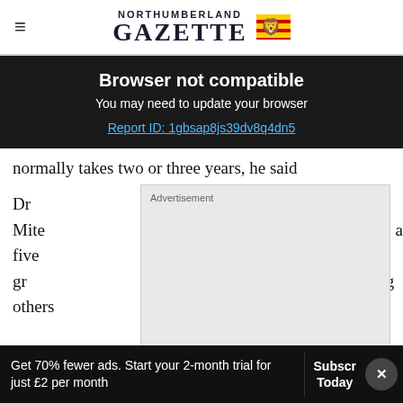Northumberland Gazette
Browser not compatible
You may need to update your browser
Report ID: 1gbsap8js39dv8q4dn5
normally takes two or three years, he said
Dr Mite ... and five gr ... ng others
[Figure (other): Advertisement placeholder box]
"I thir ... le advan...
[Figure (other): Firestone Tire Offer advertisement - Virginia Tire & Auto of Ashburn]
Get 70% fewer ads. Start your 2-month trial for just £2 per month
Subscribe Today